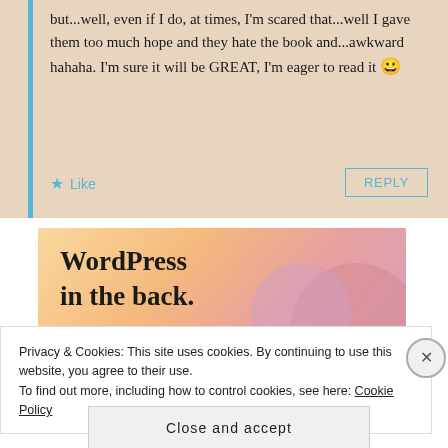but...well, even if I do, at times, I'm scared that...well I gave them too much hope and they hate the book and...awkward hahaha. I'm sure it will be GREAT, I'm eager to read it 😀
★ Like
REPLY
[Figure (illustration): WordPress advertisement banner with colorful gradient background (orange, pink, mauve) with text 'WordPress in the back.']
Privacy & Cookies: This site uses cookies. By continuing to use this website, you agree to their use.
To find out more, including how to control cookies, see here: Cookie Policy
Close and accept